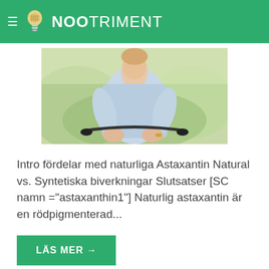NOOTRIMENT
[Figure (photo): Person on a bicycle, smiling, outdoors with green trees in background]
Intro fördelar med naturliga Astaxantin Natural vs. Syntetiska biverkningar Slutsatser [SC namn ="astaxanthin1"] Naturlig astaxantin är en rödpigmenterad...
LÄS MER →